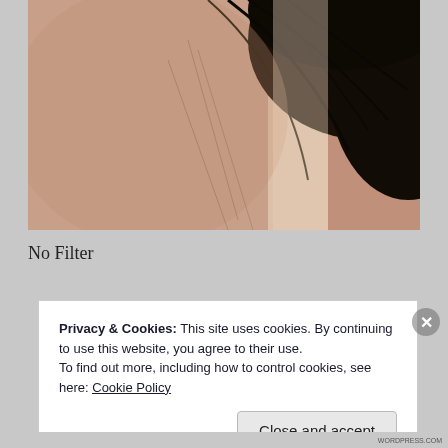[Figure (photo): Close-up photo of a person's neck/shoulder area with dark hair visible, taken without a filter. Background shows a light wall. Dark hair dominates the upper-right portion of the image.]
No Filter
Privacy & Cookies: This site uses cookies. By continuing to use this website, you agree to their use.
To find out more, including how to control cookies, see here: Cookie Policy
Close and accept